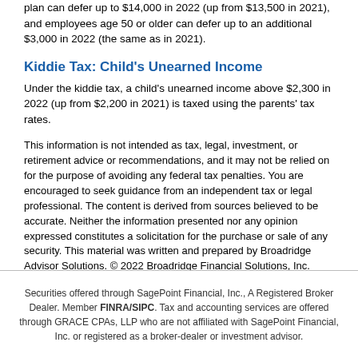plan can defer up to $14,000 in 2022 (up from $13,500 in 2021), and employees age 50 or older can defer up to an additional $3,000 in 2022 (the same as in 2021).
Kiddie Tax: Child's Unearned Income
Under the kiddie tax, a child's unearned income above $2,300 in 2022 (up from $2,200 in 2021) is taxed using the parents' tax rates.
This information is not intended as tax, legal, investment, or retirement advice or recommendations, and it may not be relied on for the purpose of avoiding any federal tax penalties. You are encouraged to seek guidance from an independent tax or legal professional. The content is derived from sources believed to be accurate. Neither the information presented nor any opinion expressed constitutes a solicitation for the purchase or sale of any security. This material was written and prepared by Broadridge Advisor Solutions. © 2022 Broadridge Financial Solutions, Inc.
Securities offered through SagePoint Financial, Inc., A Registered Broker Dealer. Member FINRA/SIPC. Tax and accounting services are offered through GRACE CPAs, LLP who are not affiliated with SagePoint Financial, Inc. or registered as a broker-dealer or investment advisor.